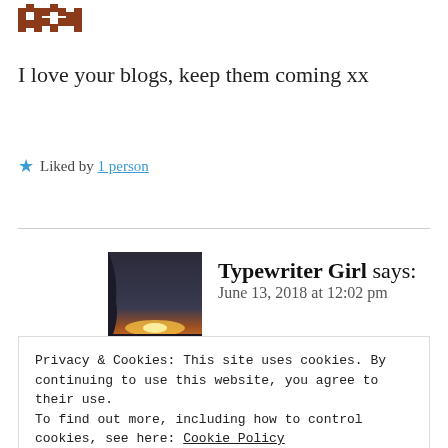[Figure (logo): Brown/rust colored pixelated logo in top left corner]
I love your blogs, keep them coming xx
★ Liked by 1 person
Typewriter Girl says:
June 13, 2018 at 12:02 pm
[Figure (photo): A small square photo showing a silhouette against a sunset/sunrise sky with a glowing horizon line]
★ Liked by 1 person
Privacy & Cookies: This site uses cookies. By continuing to use this website, you agree to their use.
To find out more, including how to control cookies, see here: Cookie Policy
Close and accept